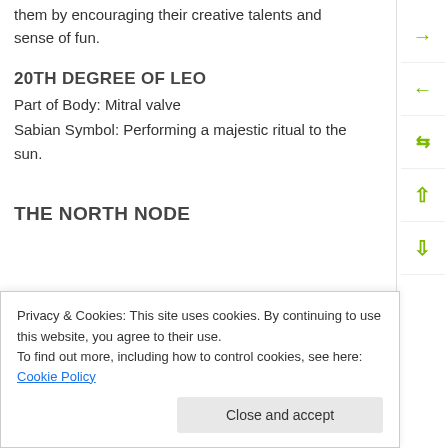them by encouraging their creative talents and sense of fun.
20TH DEGREE OF LEO
Part of Body: Mitral valve
Sabian Symbol: Performing a majestic ritual to the sun.
THE NORTH NODE
creative life in order to give generously to the world.
Privacy & Cookies: This site uses cookies. By continuing to use this website, you agree to their use.
To find out more, including how to control cookies, see here: Cookie Policy
Close and accept